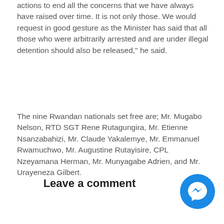actions to end all the concerns that we have always have raised over time. It is not only those. We would request in good gesture as the Minister has said that all those who were arbitrarily arrested and are under illegal detention should also be released," he said.
The nine Rwandan nationals set free are; Mr. Mugabo Nelson, RTD SGT Rene Rutagungira, Mr. Etienne Nsanzabahizi, Mr. Claude Yakalemye, Mr. Emmanuel Rwamuchwo, Mr. Augustine Rutayisire, CPL Nzeyamana Herman, Mr. Munyagabe Adrien, and Mr. Urayeneza Gilbert.
Leave a comment
[Figure (illustration): Facebook Messenger chat button icon — blue circle with white lightning bolt/messenger logo]